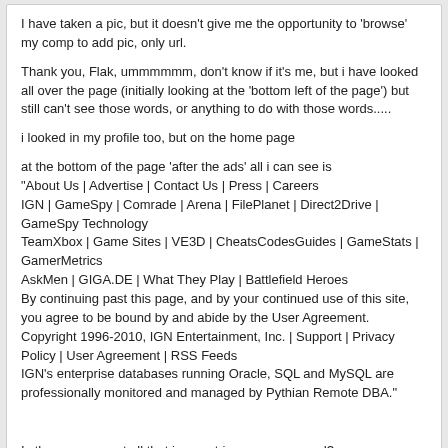I have taken a pic, but it doesn't give me the opportunity to 'browse' my comp to add pic, only url.

Thank you, Flak, ummmmmm, don't know if it's me, but i have looked all over the page (initially looking at the 'bottom left of the page') but still can't see those words, or anything to do with those words.....

i looked in my profile too, but on the home page

at the bottom of the page 'after the ads' all i can see is
"About Us | Advertise | Contact Us | Press | Careers
IGN | GameSpy | Comrade | Arena | FilePlanet | Direct2Drive | GameSpy Technology
TeamXbox | Game Sites | VE3D | CheatsCodesGuides | GameStats | GamerMetrics
AskMen | GIGA.DE | What They Play | Battlefield Heroes
By continuing past this page, and by your continued use of this site, you agree to be bound by and abide by the User Agreement.
Copyright 1996-2010, IGN Entertainment, Inc. | Support | Privacy Policy | User Agreement | RSS Feeds
IGN's enterprise databases running Oracle, SQL and MySQL are professionally monitored and managed by Pythian Remote DBA."


Is there anyway at all that i can retrieve my password?
CwazyCwis